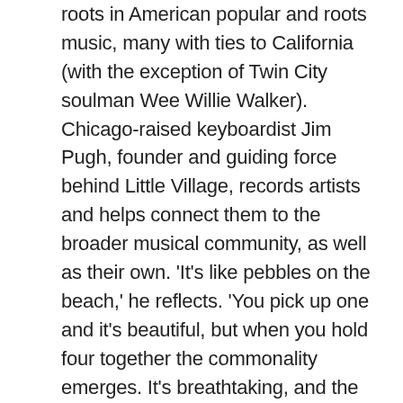roots in American popular and roots music, many with ties to California (with the exception of Twin City soulman Wee Willie Walker). Chicago-raised keyboardist Jim Pugh, founder and guiding force behind Little Village, records artists and helps connect them to the broader musical community, as well as their own. 'It's like pebbles on the beach,' he reflects. 'You pick up one and it's beautiful, but when you hold four together the commonality emerges. It's breathtaking, and the bigger picture – what America really sounds like – leaps out at you.' A lifelong champion of blues music, Pugh once booked Koko Taylor for a school dance, back when he was 14. As a young man and aspiring professional musician, he sat in with amazing artists in Chicago and played birthday parties for farmworkers in rural California. In a career